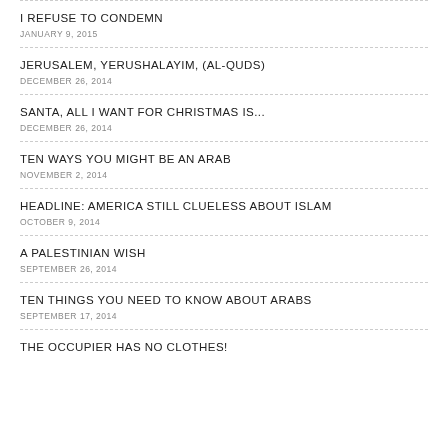I REFUSE TO CONDEMN
JANUARY 9, 2015
JERUSALEM, YERUSHALAYIM, (AL-QUDS)
DECEMBER 26, 2014
SANTA, ALL I WANT FOR CHRISTMAS IS...
DECEMBER 26, 2014
TEN WAYS YOU MIGHT BE AN ARAB
NOVEMBER 2, 2014
HEADLINE: AMERICA STILL CLUELESS ABOUT ISLAM
OCTOBER 9, 2014
A PALESTINIAN WISH
SEPTEMBER 26, 2014
TEN THINGS YOU NEED TO KNOW ABOUT ARABS
SEPTEMBER 17, 2014
THE OCCUPIER HAS NO CLOTHES!